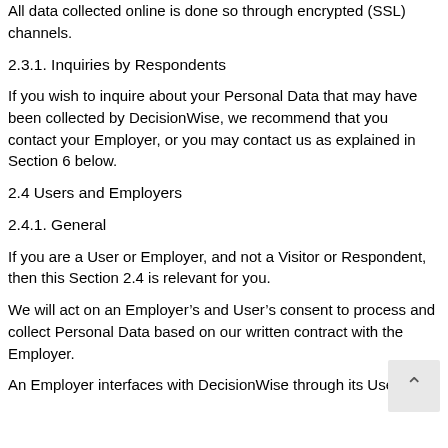All data collected online is done so through encrypted (SSL) channels.
2.3.1. Inquiries by Respondents
If you wish to inquire about your Personal Data that may have been collected by DecisionWise, we recommend that you contact your Employer, or you may contact us as explained in Section 6 below.
2.4 Users and Employers
2.4.1. General
If you are a User or Employer, and not a Visitor or Respondent, then this Section 2.4 is relevant for you.
We will act on an Employer’s and User’s consent to process and collect Personal Data based on our written contract with the Employer.
An Employer interfaces with DecisionWise through its Users. In